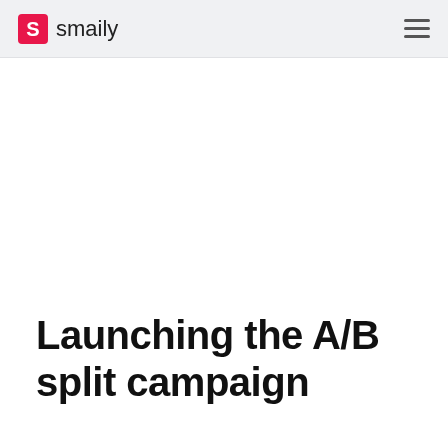smaily
Launching the A/B split campaign